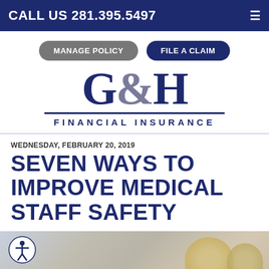CALL US 281.395.5497
MANAGE POLICY
FILE A CLAIM
[Figure (logo): G&H Financial Insurance logo with large serif G&H text and subtitle FINANCIAL INSURANCE]
WEDNESDAY, FEBRUARY 20, 2019
SEVEN WAYS TO IMPROVE MEDICAL STAFF SAFETY
[Figure (photo): Partial photo of people in a healthcare/office setting, woman with blonde hair visible]